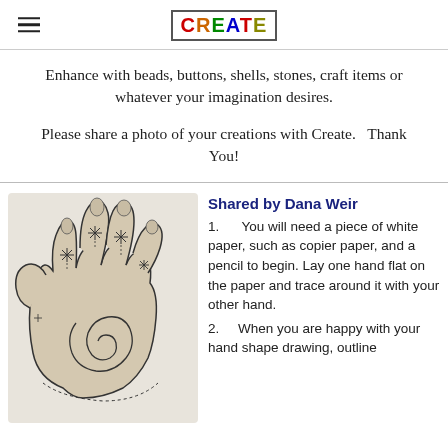CREATE
Enhance with beads, buttons, shells, stones, craft items or whatever your imagination desires.
Please share a photo of your creations with Create.   Thank You!
[Figure (illustration): Drawing of an open hand with decorative patterns including a spiral in the palm, star/asterisk motifs on fingers, and dashed outline details]
Shared by Dana Weir
1.      You will need a piece of white paper, such as copier paper, and a pencil to begin. Lay one hand flat on the paper and trace around it with your other hand.
2.      When you are happy with your hand shape drawing, outline